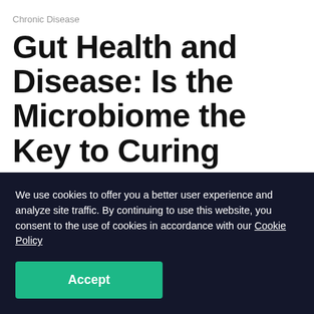Chronic Disease
Gut Health and Disease: Is the Microbiome the Key to Curing Chronic Diseases?
By Viome Team
We use cookies to offer you a better user experience and analyze site traffic. By continuing to use this website, you consent to the use of cookies in accordance with our Cookie Policy
Accept